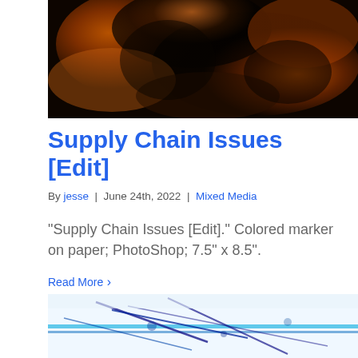[Figure (photo): Abstract orange and black swirling colored marker artwork on dark background]
Supply Chain Issues [Edit]
By jesse | June 24th, 2022 | Mixed Media
“Supply Chain Issues [Edit].” Colored marker on paper; PhotoShop; 7.5” x 8.5”.
Read More ›
[Figure (photo): Blue marker artwork on white paper, showing abstract lines and shapes]